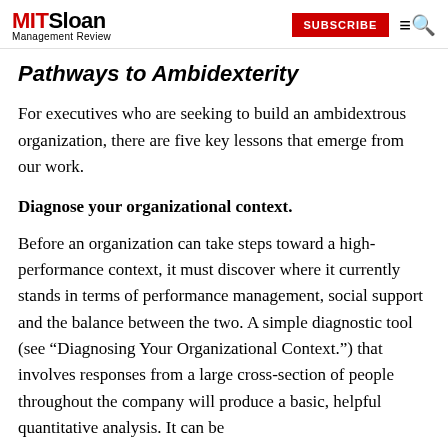MIT Sloan Management Review | SUBSCRIBE
Pathways to Ambidexterity
For executives who are seeking to build an ambidextrous organization, there are five key lessons that emerge from our work.
Diagnose your organizational context.
Before an organization can take steps toward a high-performance context, it must discover where it currently stands in terms of performance management, social support and the balance between the two. A simple diagnostic tool (see “Diagnosing Your Organizational Context.”) that involves responses from a large cross-section of people throughout the company will produce a basic, helpful quantitative analysis. It can be